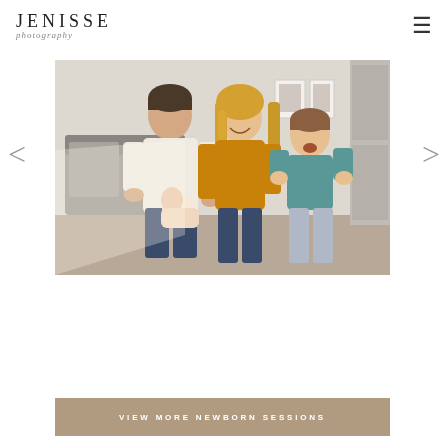JENISSE photography
[Figure (photo): Family photo with man, woman, and two children sitting on the floor indoors, smiling and laughing]
VIEW MORE NEWBORN SESSIONS